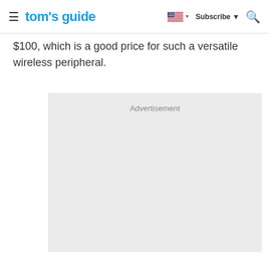tom's guide | Subscribe
$100, which is a good price for such a versatile wireless peripheral.
[Figure (other): Advertisement placeholder box with light gray background and 'Advertisement' label at top center]